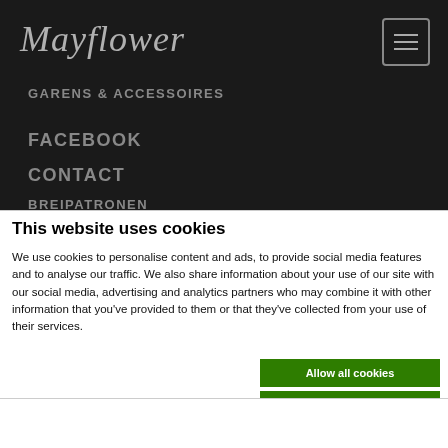[Figure (logo): Mayflower logo in italic serif font on dark background]
GARENS & ACCESSOIRES
FACEBOOK
CONTACT
BREIPATRONEN
This website uses cookies
We use cookies to personalise content and ads, to provide social media features and to analyse our traffic. We also share information about your use of our site with our social media, advertising and analytics partners who may combine it with other information that you've provided to them or that they've collected from your use of their services.
Allow all cookies
Allow selection
Use necessary cookies only
Necessary  Preferences  Statistics  Marketing  Show details